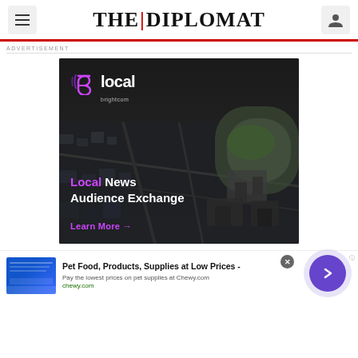THE DIPLOMAT
ADVERTISEMENT
[Figure (advertisement): Brightcom 'local' Local News Audience Exchange advertisement with aerial city background. Shows purple/magenta logo with text 'local brightcom', 'Local News Audience Exchange', 'Learn More →']
[Figure (advertisement): Bottom banner ad: Pet Food, Products, Supplies at Low Prices - chewy.com. Pay the lowest prices on pet supplies at Chewy.com. With close button and arrow navigation button.]